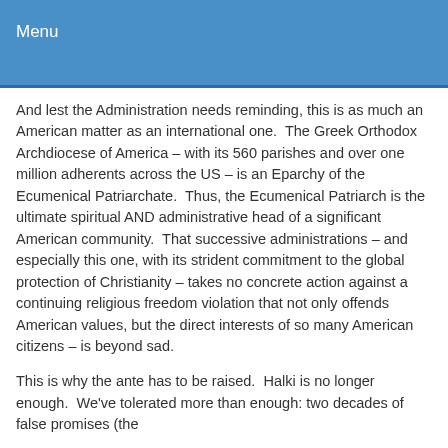Menu
And lest the Administration needs reminding, this is as much an American matter as an international one.  The Greek Orthodox Archdiocese of America – with its 560 parishes and over one million adherents across the US – is an Eparchy of the Ecumenical Patriarchate.  Thus, the Ecumenical Patriarch is the ultimate spiritual AND administrative head of a significant American community.  That successive administrations – and especially this one, with its strident commitment to the global protection of Christianity – takes no concrete action against a continuing religious freedom violation that not only offends American values, but the direct interests of so many American citizens – is beyond sad.
This is why the ante has to be raised.  Halki is no longer enough.  We've tolerated more than enough: two decades of false promises (the